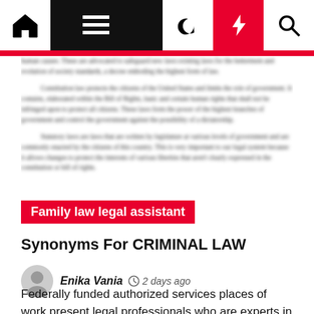Navigation bar with home, menu, dark mode, bolt, and search icons
Blurred article text about constitutional law and government
Family law legal assistant
Synonyms For CRIMINAL LAW
Enika Vania  2 days ago
Federally funded authorized services places of work present legal professionals who are experts in helping low-income folks with